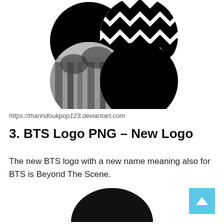[Figure (illustration): Four overlapping circles arranged in a 2x2 grid pattern. Top-left circle is solid black. Top-right circle has black and white diagonal chevron/zigzag stripes. Bottom-left circle shows a black and white photograph of trees/forest scene. Bottom-right circle is solid black. The circles partially overlap each other.]
https://tharindoukpop123.deviantart.com
3. BTS Logo PNG – New Logo
The new BTS logo with a new name meaning also for BTS is Beyond The Scene.
[Figure (illustration): Partial view of a black ellipse/circle shape at the bottom of the page, cropped.]